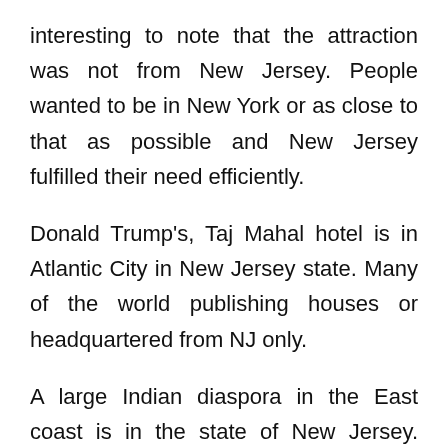interesting to note that the attraction was not from New Jersey. People wanted to be in New York or as close to that as possible and New Jersey fulfilled their need efficiently.
Donald Trump's, Taj Mahal hotel is in Atlantic City in New Jersey state. Many of the world publishing houses or headquartered from NJ only.
A large Indian diaspora in the East coast is in the state of New Jersey. Newark city there is a